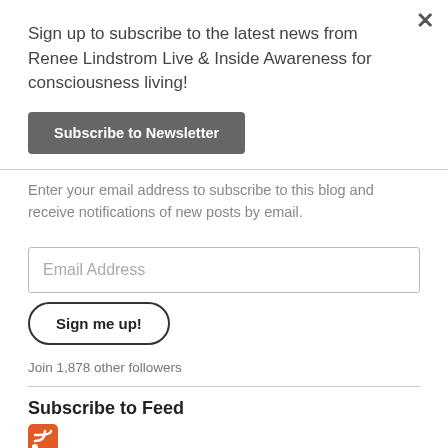×
Sign up to subscribe to the latest news from Renee Lindstrom Live & Inside Awareness for consciousness living!
Subscribe to Newsletter
Enter your email address to subscribe to this blog and receive notifications of new posts by email.
Email Address
Sign me up!
Join 1,878 other followers
Subscribe to Feed
[Figure (logo): RSS feed icon — orange square with white WiFi-style signal arcs]